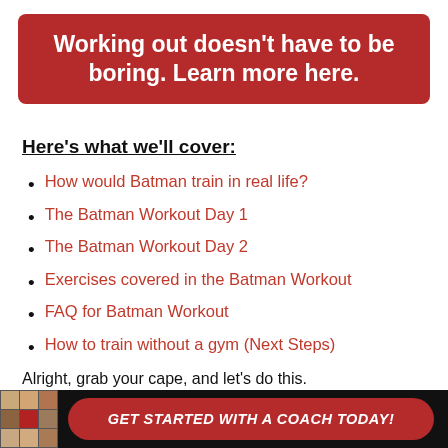Working out doesn't have to be boring. Learn more here.
Here's what we'll cover:
How would Batman train in real life?
The Batman Workout Day 1
The Batman Workout Day 2
Exercises covered in the Batman Workout
FAQ for Batman Workout
How to train without a gym (Next Steps)
Alright, grab your cape, and let's do this.
GET STARTED WITH A COACH TODAY!